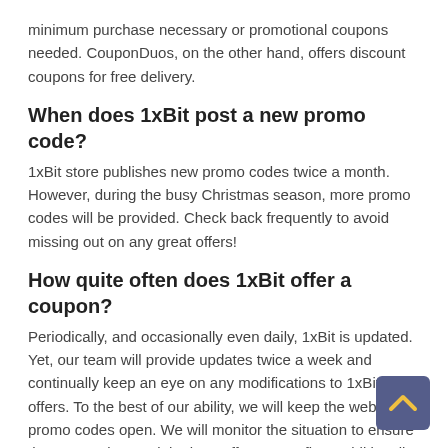minimum purchase necessary or promotional coupons needed. CouponDuos, on the other hand, offers discount coupons for free delivery.
When does 1xBit post a new promo code?
1xBit store publishes new promo codes twice a month. However, during the busy Christmas season, more promo codes will be provided. Check back frequently to avoid missing out on any great offers!
How quite often does 1xBit offer a coupon?
Periodically, and occasionally even daily, 1xBit is updated. Yet, our team will provide updates twice a week and continually keep an eye on any modifications to 1xBit's offers. To the best of our ability, we will keep the website's promo codes open. We will monitor the situation to ensure that you understand the best offer comes first. Additionally, you can browse all the promo